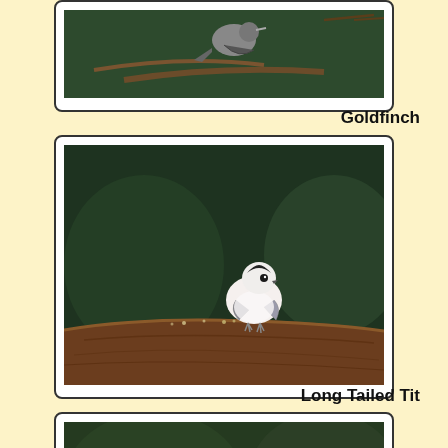[Figure (photo): Partial view of a Goldfinch bird on a branch, top of image cropped]
Goldfinch
[Figure (photo): Long Tailed Tit bird perched on a wooden log feeder against a dark green background]
Long Tailed Tit
[Figure (photo): Robin bird perched on a wooden log feeder, partially visible at bottom of page]